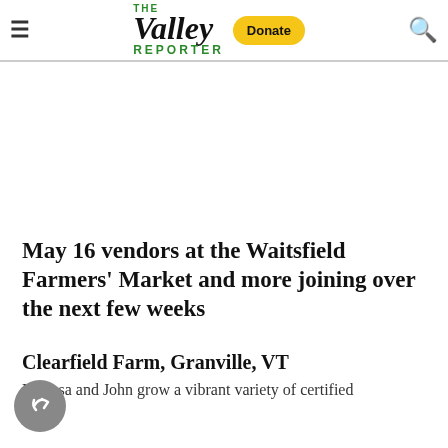The Valley Reporter — Donate — [hamburger menu] [search icon]
May 16 vendors at the Waitsfield Farmers' Market and more joining over the next few weeks
Clearfield Farm, Granville, VT
Melissa and John grow a vibrant variety of certified